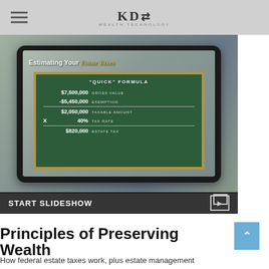KDI Wealth Technology
[Figure (screenshot): Person holding a tablet showing a slideshow about Estimating Your Estate Taxes with a chalkboard graphic displaying a Quick Formula: $7,500,000 Gross Value, -$5,450,000 Exemption, $2,050,000 Taxable Amount, x 40% Tax Rate, $820,000 Estate Tax. Below the image is a START SLIDESHOW bar.]
Principles of Preserving Wealth
How federal estate taxes work, plus estate management ber…